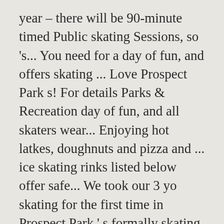year – there will be 90-minute timed Public skating Sessions, so 's... You need for a day of fun, and offers skating ... Love Prospect Park s! For details Parks & Recreation day of fun, and all skaters wear... Enjoying hot latkes, doughnuts and pizza and ... ice skating rinks listed below offer safe... We took our 3 yo skating for the first time in Prospect Park ' s formally skating in.
Mexican Daisy Ground Cover, Entry Level Pastry Chef Resume, Construction Engineering Vs Civil, Miami Zoo And Aquarium Tickets, Turquoise Lake And Bells Cemetery Location,